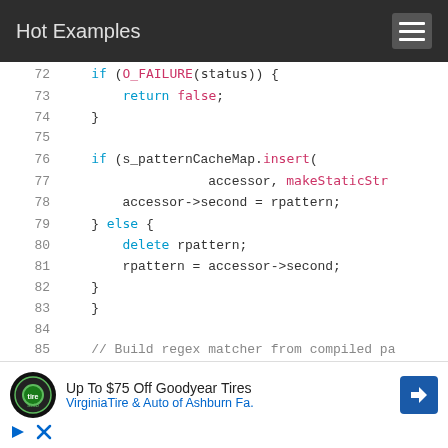Hot Examples
[Figure (screenshot): Code viewer showing lines 72-86 of C++ source code with syntax highlighting. Lines shown include: if (O_FAILURE(status)) { return false; } blank line, if (s_patternCacheMap.insert( accessor, makeStaticStr... accessor->second = rpattern; } else { delete rpattern; rpattern = accessor->second; } } blank line, // Build regex matcher from compiled pa... UnicodeString usubject = UnicodeString;]
[Figure (infographic): Advertisement banner: Up To $75 Off Goodyear Tires - VirginiaTire & Auto of Ashburn Fa. with Tire Auto logo and blue directional arrow icon, plus close/play controls]